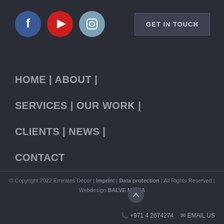[Figure (logo): Three social media icons: Facebook (blue circle with f), YouTube (red circle with play button), Instagram (steel blue circle with camera icon)]
GET IN TOUCH
HOME | ABOUT |
SERVICES | OUR WORK |
CLIENTS | NEWS |
CONTACT
© Copyright 2022 Emirates Décor | Imprint | Data protection | All Rights Reserved | Webdesign BALVE MEDIA
+971 4 2674274   EMAIL US